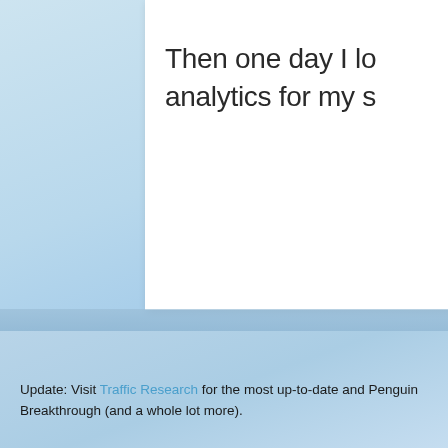Then one day I lo analytics for my s
Update: Visit Traffic Research for the most up-to-date and Penguin Breakthrough (and a whole lot more).